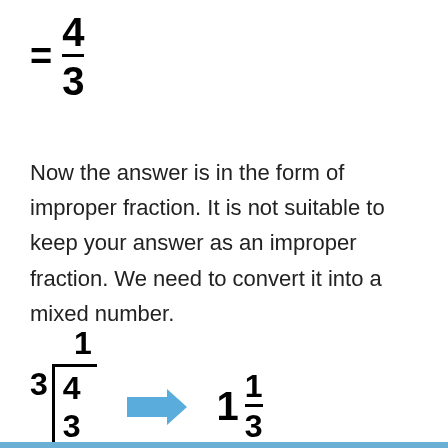Now the answer is in the form of improper fraction. It is not suitable to keep your answer as an improper fraction. We need to convert it into a mixed number.
[Figure (math-figure): Long division of 4 divided by 3, showing quotient 1, subtraction of 3, remainder 1, with arrow pointing to mixed number 1 and 1/3]